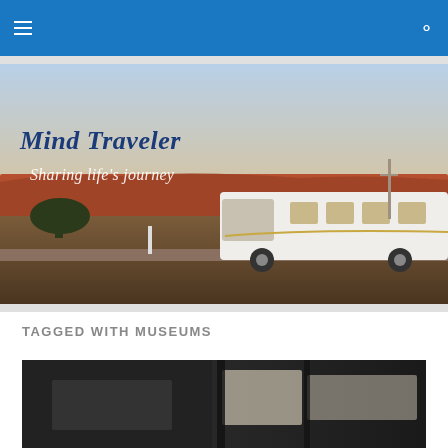Mind Traveler – navigation bar with hamburger menu and search icon
[Figure (photo): Hero banner image of a white RV motorhome parked in a desert landscape at dusk with red mesa hills in the background and a pale sky. Overlaid text reads 'Mind Traveler' and 'Sharing life's journey'.]
Mind Traveler
Sharing life's journey
TAGGED WITH MUSEUMS
[Figure (photo): Partial bottom photograph showing an interior or exterior dark view, partially visible at the bottom of the page.]